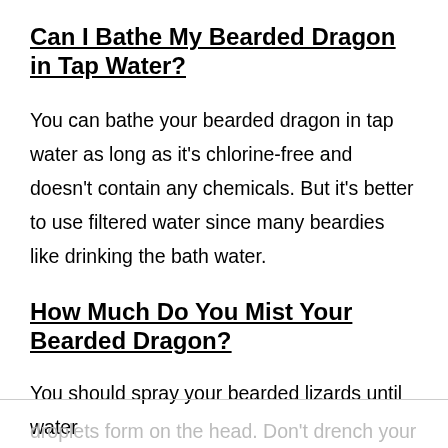Can I Bathe My Bearded Dragon in Tap Water?
You can bathe your bearded dragon in tap water as long as it's chlorine-free and doesn't contain any chemicals. But it's better to use filtered water since many beardies like drinking the bath water.
How Much Do You Mist Your Bearded Dragon?
You should spray your bearded lizards until water droplets form on the head. Don't drench your